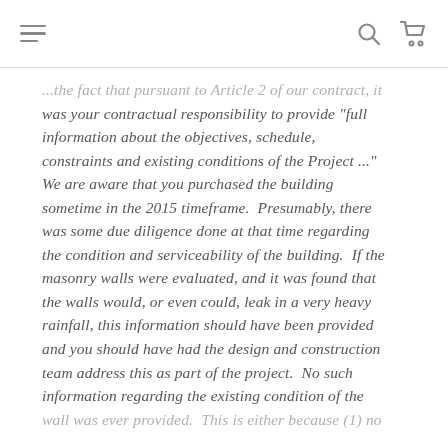[hamburger menu] [search icon] [cart icon]
...the fact that pursuant to Article 2 of our contract, it was your contractual responsibility to provide "full information about the objectives, schedule, constraints and existing conditions of the Project ..." We are aware that you purchased the building sometime in the 2015 timeframe.  Presumably, there was some due diligence done at that time regarding the condition and serviceability of the building.  If the masonry walls were evaluated, and it was found that the walls would, or even could, leak in a very heavy rainfall, this information should have been provided and you should have had the design and construction team address this as part of the project.  No such information regarding the existing condition of the wall was ever provided.  This is either because (1) no